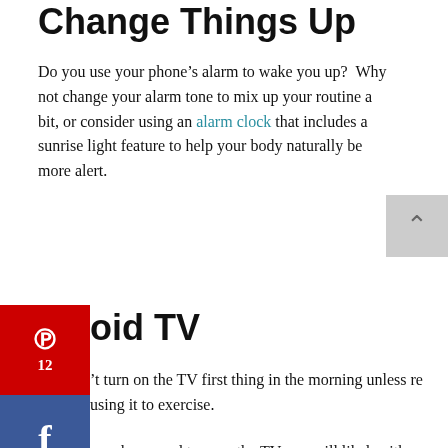Change Things Up
Do you use your phone’s alarm to wake you up?  Why not change your alarm tone to mix up your routine a bit, or consider using an alarm clock that includes a sunrise light feature to help your body naturally be more alert.
oid TV
’t turn on the TV first thing in the morning unless re using it to exercise.
u wake up and turn on the TV you will likely either ce time watching something unimportant or you will get sucked into the stress of the morning news.  Neither is ideal for a happy, productive day.
Wait to Jump Online
Put.Your phone.Down.
Wake up and start your day without checking your social